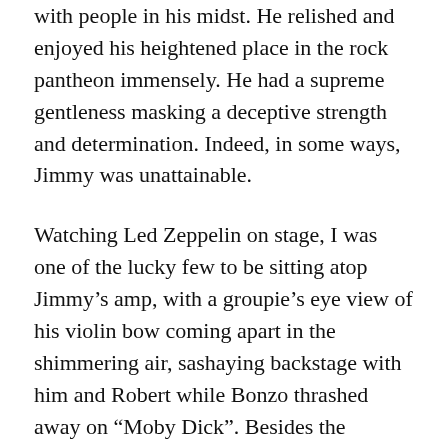with people in his midst. He relished and enjoyed his heightened place in the rock pantheon immensely. He had a supreme gentleness masking a deceptive strength and determination. Indeed, in some ways, Jimmy was unattainable.
Watching Led Zeppelin on stage, I was one of the lucky few to be sitting atop Jimmy's amp, with a groupie's eye view of his violin bow coming apart in the shimmering air, sashaying backstage with him and Robert while Bonzo thrashed away on “Moby Dick”. Besides the magnificence of the music, just being a part of that formidable, unparalleled scene was an enervating, indescribable feeling. When they went back to England after a long tour here, the let down was very troubling to say the least.